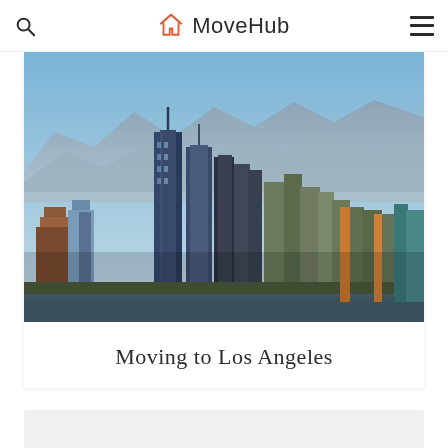MoveHub
[Figure (photo): Aerial photograph of the Los Angeles downtown skyline with tall skyscrapers against a mountain backdrop with blue sky.]
Moving to Los Angeles